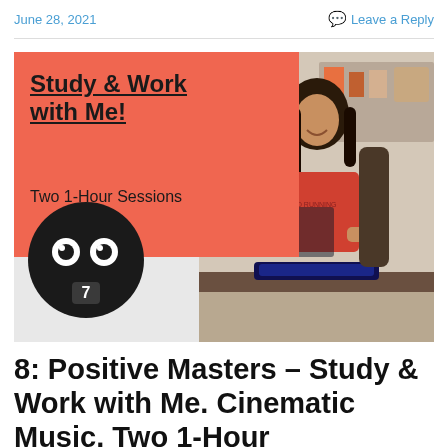June 28, 2021
Leave a Reply
[Figure (photo): Thumbnail image for a YouTube/podcast episode showing a person at a computer desk wearing a red t-shirt, with a coral/salmon overlay on the left containing the text 'Study & Work with Me! Two 1-Hour Sessions' and a black circle logo with two white eyes and the number 7 at the bottom.]
8: Positive Masters – Study & Work with Me. Cinematic Music. Two 1-Hour Pomodoros